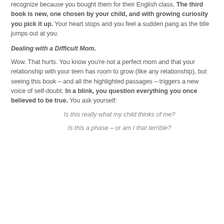recognize because you bought them for their English class. The third book is new, one chosen by your child, and with growing curiosity you pick it up. Your heart stops and you feel a sudden pang as the title jumps out at you.
Dealing with a Difficult Mom.
Wow. That hurts. You know you're not a perfect mom and that your relationship with your teen has room to grow (like any relationship), but seeing this book – and all the highlighted passages – triggers a new voice of self-doubt. In a blink, you question everything you once believed to be true. You ask yourself:
Is this really what my child thinks of me?
Is this a phase – or am I that terrible?